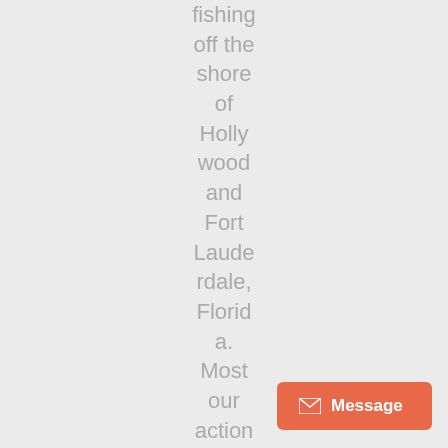fishing off the shore of Hollywood and Fort Lauderdale, Florida. Most our action has been close to shore, the migrating
[Figure (other): Orange message button with envelope icon and 'Message' label in bottom right corner]